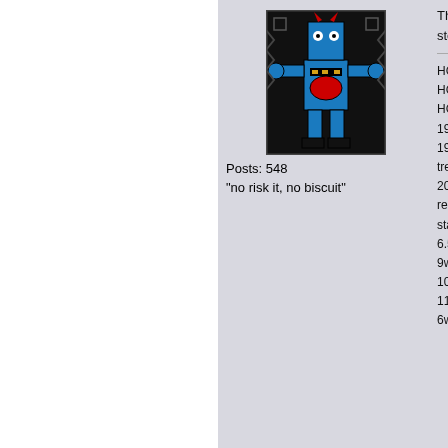[Figure (illustration): Colorful abstract folk art style avatar image with black, red, blue, and yellow geometric patterns depicting a stylized figure]
Posts: 548
"no risk it, no biscuit"
There is disease. reverse d dysfuncti the most there are there are notion br bodies b stop. La
HCV/nonA HCV dete HCV persi 1995 liver 1996 Biop treatment 2000-to ea recent live start tx Ha 6.5 week-l 9wk-UD-a 10/3/15 co 11/5/15 ne 6wk EOT